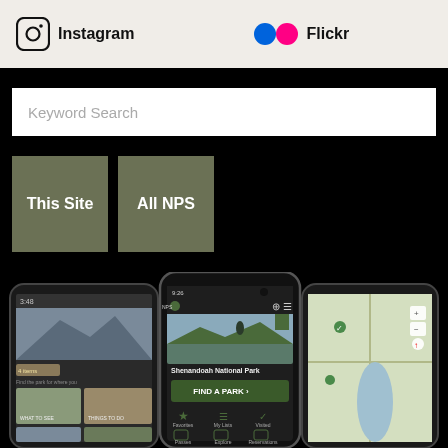[Figure (logo): Instagram logo icon (square with rounded corners, camera outline)]
Instagram
[Figure (logo): Flickr logo: two circles, blue and pink]
Flickr
Keyword Search
This Site
All NPS
[Figure (screenshot): Three smartphones showing the NPS app: left phone shows a photo grid of national park images, center phone shows the NPS app with Shenandoah National Park and a FIND A PARK button plus navigation icons (Favorites, My Lists, Visited, Passes, Explore, Reservations), right phone shows a map view]